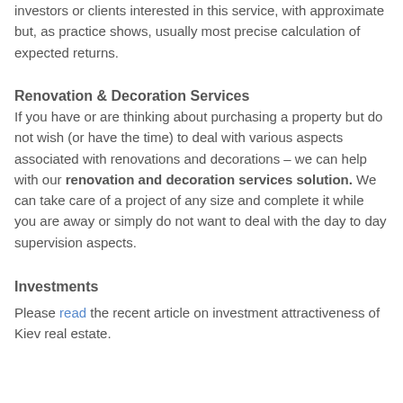investors or clients interested in this service, with approximate but, as practice shows, usually most precise calculation of expected returns.
Renovation & Decoration Services
If you have or are thinking about purchasing a property but do not wish (or have the time) to deal with various aspects associated with renovations and decorations – we can help with our renovation and decoration services solution. We can take care of a project of any size and complete it while you are away or simply do not want to deal with the day to day supervision aspects.
Investments
Please read the recent article on investment attractiveness of Kiev real estate.